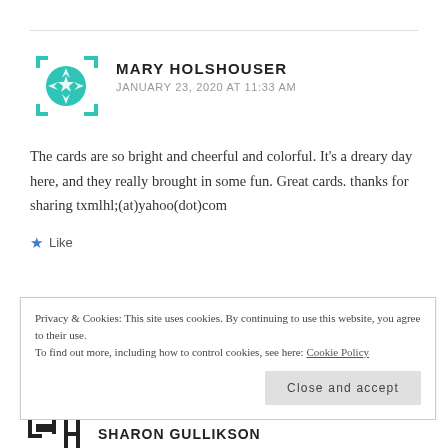MARY HOLSHOUSER
JANUARY 23, 2020 AT 11:33 AM
The cards are so bright and cheerful and colorful. It's a dreary day here, and they really brought in some fun. Great cards. thanks for sharing txmlhl;(at)yahoo(dot)com
Like
Privacy & Cookies: This site uses cookies. By continuing to use this website, you agree to their use. To find out more, including how to control cookies, see here: Cookie Policy
Close and accept
SHARON GULLIKSON